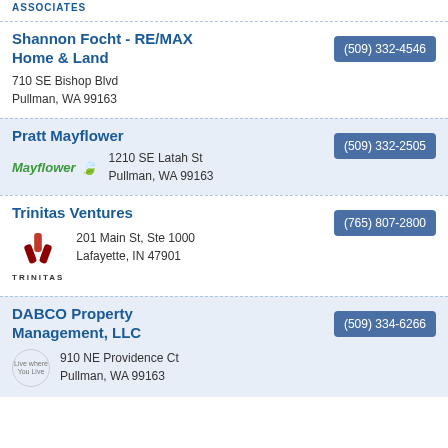ASSOCIATES
Shannon Focht - RE/MAX Home & Land
(509) 332-4546
710 SE Bishop Blvd
Pullman, WA 99163
Pratt Mayflower
(509) 332-2505
1210 SE Latah St
Pullman, WA 99163
Trinitas Ventures
(765) 807-2800
201 Main St, Ste 1000
Lafayette, IN 47901
DABCO Property Management, LLC
(509) 334-6266
910 NE Providence Ct
Pullman, WA 99163